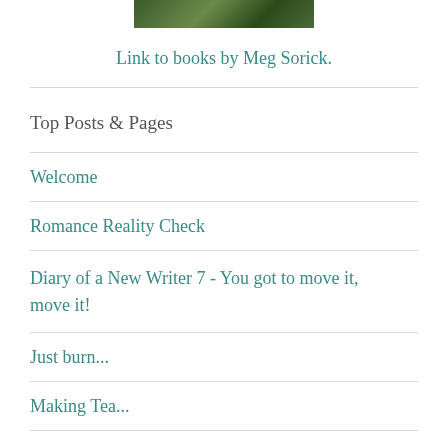[Figure (photo): Partial photo of a person outdoors on grass]
Link to books by Meg Sorick.
Top Posts & Pages
Welcome
Romance Reality Check
Diary of a New Writer 7 - You got to move it, move it!
Just burn...
Making Tea...